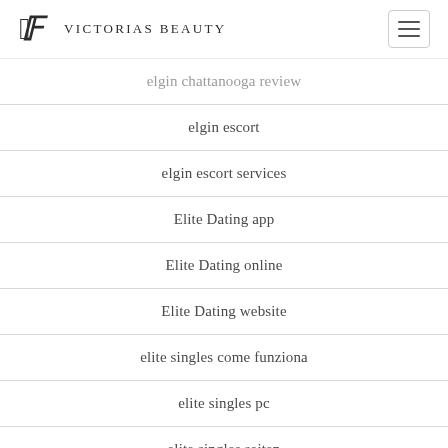Victorias Beauty
elgin escort
elgin escort services
Elite Dating app
Elite Dating online
Elite Dating website
elite singles come funziona
elite singles pc
elite singles seiten